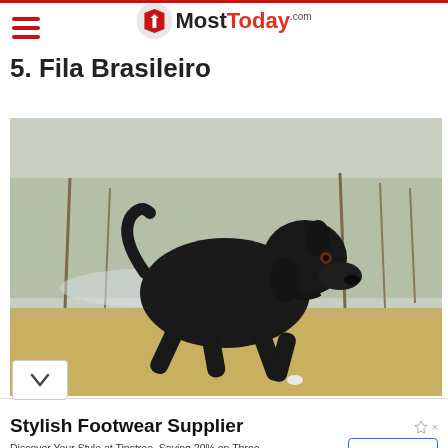MostToday.com
5. Fila Brasileiro
[Figure (photo): A black Fila Brasileiro dog running through a dry grassy field with bare trees in the background]
Stylish Footwear Supplier
Discover Your Style at Tinstree, Saving 20% on Three Shoes.High Quality, Fast Delivery. Tinstree.com